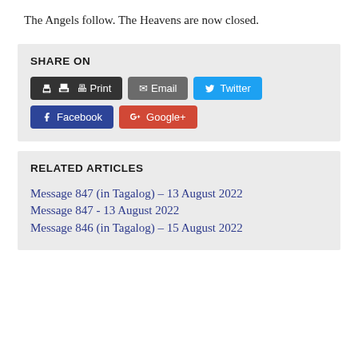The Angels follow. The Heavens are now closed.
SHARE ON
Print | Email | Twitter | Facebook | G+ Google+
RELATED ARTICLES
Message 847 (in Tagalog) – 13 August 2022
Message 847 - 13 August 2022
Message 846 (in Tagalog) – 15 August 2022